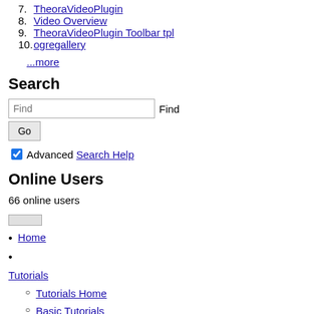7. TheoraVideoPlugin
8. Video Overview
9. TheoraVideoPlugin Toolbar tpl
10. ogregallery
...more
Search
Find [input] Find
Go
[checkbox] Advanced Search Help
Online Users
66 online users
Home
Tutorials
Tutorials Home
Basic Tutorials
Intermediate Tutorials